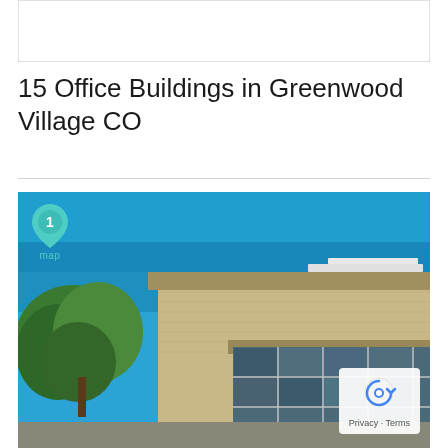[Figure (other): White/light box placeholder image at top of page]
15 Office Buildings in Greenwood Village CO
[Figure (photo): Exterior photo of a commercial office building in Greenwood Village CO with large glass windows, brick/stone facade, bright blue sky, and green trees. A map pin labeled '1 map' appears in the upper left corner. A reCAPTCHA Privacy Terms badge appears in the lower right corner.]